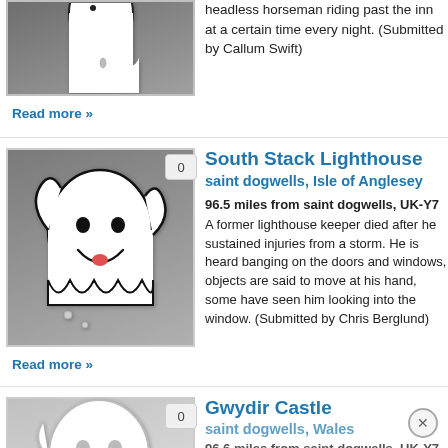[Figure (illustration): Ghost illustration (partial/cropped) on dark grey background at top of page]
headless horseman riding past the inn at a certain time every night. (Submitted by Callum Swift)
Read more »
[Figure (illustration): Ghost cartoon illustration (friendly smiling ghost) on dark grey gradient background, with badge showing 0]
South Stack Lighthouse
saint dogwells, Isle of Anglesey
96.5 miles from saint dogwells, UK-Y7
A former lighthouse keeper died after he sustained injuries from a storm. He is heard banging on the doors and windows, objects are said to move at his hand, some have seen him looking into the window. (Submitted by Chris Berglund)
Read more »
[Figure (illustration): Ghost cartoon illustration (partial/cropped) on light grey background at bottom of page, with badge showing 0]
Gwydir Castle
saint dogwells, Wales
96.6 miles from saint dogwells, UK-Y7